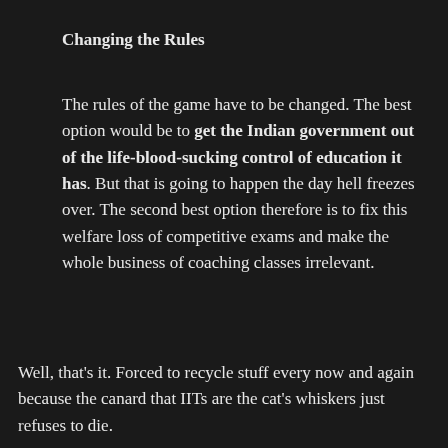Changing the Rules
The rules of the game have to be changed. The best option would be to get the Indian government out of the life-blood-sucking control of education it has. But that is going to happen the day hell freezes over. The second best option therefore is to fix this welfare loss of competitive exams and make the whole business of coaching classes irrelevant.
Well, that's it. Forced to recycle stuff every now and again because the canard that IITs are the cat's whiskers just refuses to die.